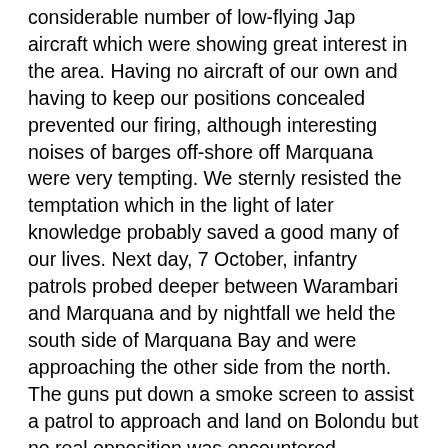considerable number of low-flying Jap aircraft which were showing great interest in the area. Having no aircraft of our own and having to keep our positions concealed prevented our firing, although interesting noises of barges off-shore off Marquana were very tempting. We sternly resisted the temptation which in the light of later knowledge probably saved a good many of our lives. Next day, 7 October, infantry patrols probed deeper between Warambari and Marquana and by nightfall we held the south side of Marquana Bay and were approaching the other side from the north. The guns put down a smoke screen to assist a patrol to approach and land on Bolondu but no real opposition was encountered, although one solitary Jap prisoner was taken. He gave us full